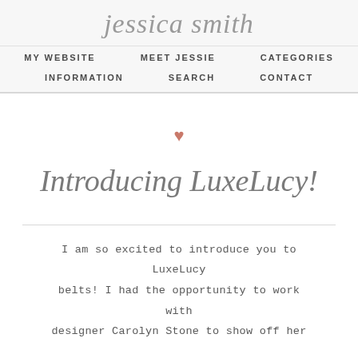jessica smith
MY WEBSITE   MEET JESSIE   CATEGORIES   INFORMATION   SEARCH   CONTACT
[Figure (illustration): Pink/salmon heart symbol used as decorative element]
Introducing LuxeLucy!
I am so excited to introduce you to LuxeLucy belts! I had the opportunity to work with designer Carolyn Stone to show off her